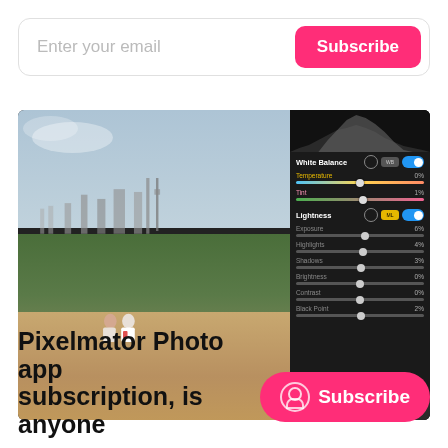[Figure (screenshot): Email subscription bar with text input 'Enter your email' and a pink 'Subscribe' button]
[Figure (screenshot): Pixelmator Photo app screenshot showing a photo of two people sitting on a hill with London skyline in background, alongside a dark editing panel with White Balance, Temperature (0%), Tint (1%), Lightness, Exposure (6%), Highlights (4%), Shadows (3%), Brightness (0%), Contrast (0%), Black Point (2%) sliders]
[Figure (infographic): Pink pill-shaped Subscribe button with person icon on the right side of the page]
Pixelmator Photo app subscription, is anyone